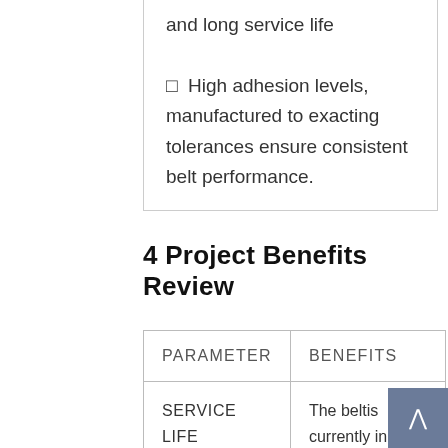✦ High adhesion levels, manufactured to exacting tolerances ensure consistent belt performance.
4 Project Benefits Review
| PARAMETER | BENEFITS |
| --- | --- |
| SERVICE LIFE | The beltis currently in operation since it has been installed in September2018. This belt is currently in operation is due for replacement in March. Service... |